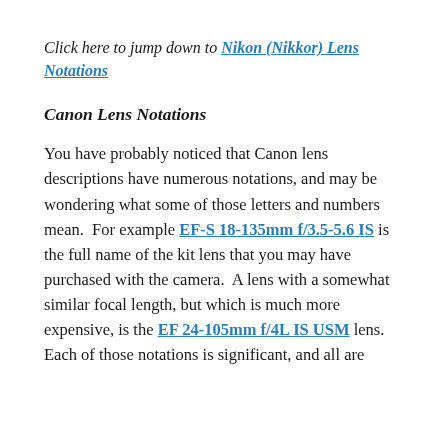Click here to jump down to Nikon (Nikkor) Lens Notations
Canon Lens Notations
You have probably noticed that Canon lens descriptions have numerous notations, and may be wondering what some of those letters and numbers mean.  For example EF-S 18-135mm f/3.5-5.6 IS is the full name of the kit lens that you may have purchased with the camera.  A lens with a somewhat similar focal length, but which is much more expensive, is the EF 24-105mm f/4L IS USM lens.  Each of those notations is significant, and all are